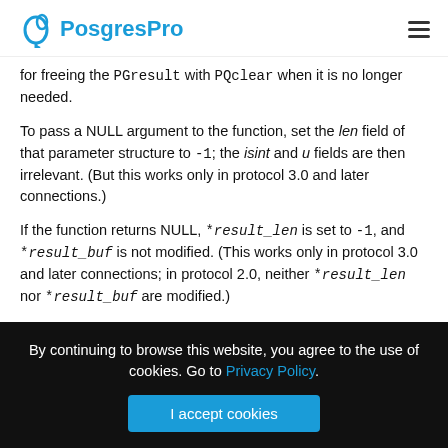PostgresPro
for freeing the PGresult with PQclear when it is no longer needed.
To pass a NULL argument to the function, set the len field of that parameter structure to -1; the isint and u fields are then irrelevant. (But this works only in protocol 3.0 and later connections.)
If the function returns NULL, *result_len is set to -1, and *result_buf is not modified. (This works only in protocol 3.0 and later connections; in protocol 2.0, neither *result_len nor *result_buf are modified.)
By continuing to browse this website, you agree to the use of cookies. Go to Privacy Policy. I accept cookies